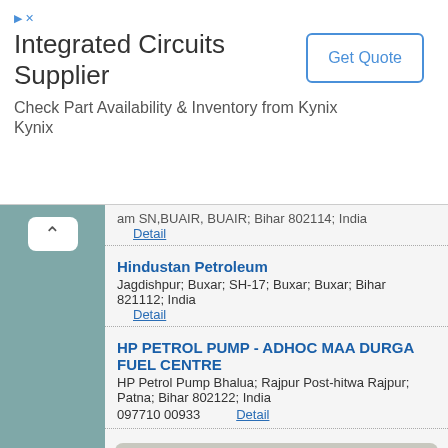[Figure (other): Advertisement banner for Integrated Circuits Supplier - Kynix with Get Quote button]
am SN,BUAIR, BUAIR; Bihar 802114; India
Detail
Hindustan Petroleum
Jagdishpur; Buxar; SH-17; Buxar; Buxar; Bihar 821112; India
Detail
HP PETROL PUMP - ADHOC MAA DURGA FUEL CENTRE
HP Petrol Pump Bhalua; Rajpur Post-hitwa Rajpur; Patna; Bihar 802122; India
097710 00933    Detail
Colleges in Chausa
Chausa MC collage
Jalwandei; Bihar 802114; India
Detail
Maharsh Chaywan College
Akhauripur Gola; Buxar; SH-14; Mohania Ramgarh Road; Buxar; Buxar; Bihar 802101; India